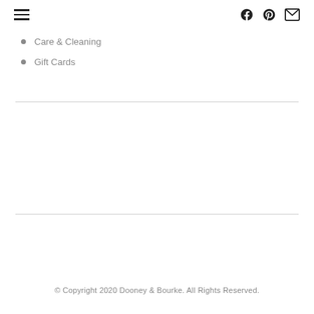Navigation menu with hamburger icon and social/share icons (Facebook, Pinterest, Email)
Care & Cleaning
Gift Cards
© Copyright 2020 Dooney & Bourke. All Rights Reserved.